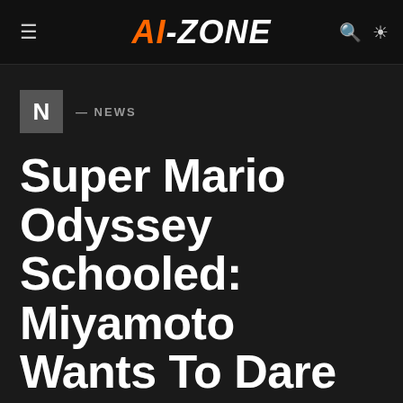AI-ZONE
N — NEWS
Super Mario Odyssey Schooled: Miyamoto Wants To Dare More In The Next Mario 3D